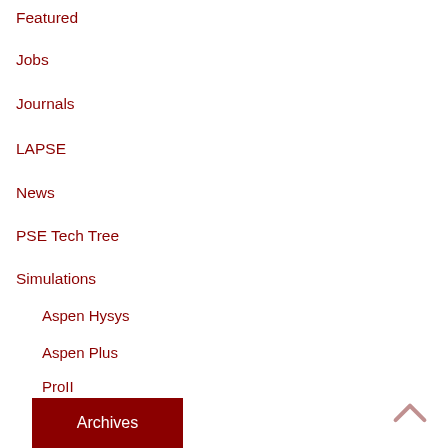Featured
Jobs
Journals
LAPSE
News
PSE Tech Tree
Simulations
Aspen Hysys
Aspen Plus
ProII
ProMax
Standardization
Uncategorized
Archives